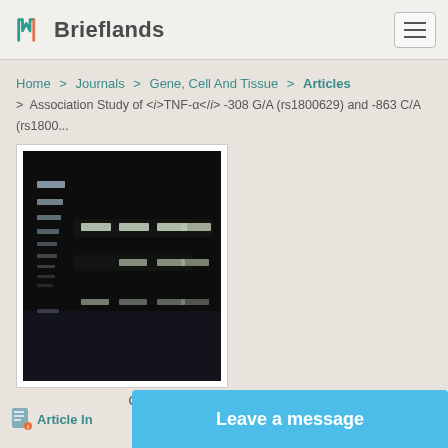Brieflands
Home > Journals > Gene, Cell And Tissue > Articles > Association Study of <i>TNF-α</i> -308 G/A (rs1800629) and -863 C/A (rs1800...
[Figure (photo): Gel electrophoresis image showing DNA bands on agarose gel. Left lane shows DNA ladder/marker with multiple bands. Other lanes show PCR product bands at different molecular weights.]
Image Credit: Gene Cell Tissue
Article Information
Leave a message